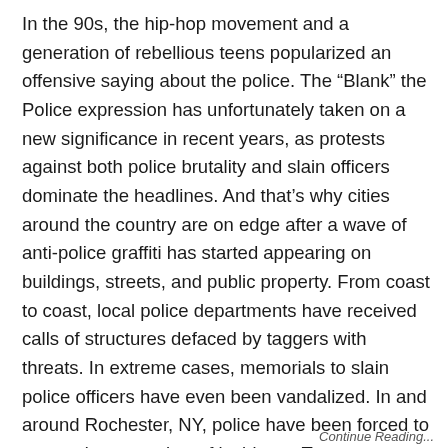In the 90s, the hip-hop movement and a generation of rebellious teens popularized an offensive saying about the police. The “Blank” the Police expression has unfortunately taken on a new significance in recent years, as protests against both police brutality and slain officers dominate the headlines. And that’s why cities around the country are on edge after a wave of anti-police graffiti has started appearing on buildings, streets, and public property. From coast to coast, local police departments have received calls of structures defaced by taggers with threats. In extreme cases, memorials to slain police officers have even been vandalized. In and around Rochester, NY, police have been forced to respond to a number of incidents. Two men were arrested for allegedly setting fire to a wooden cross honoring a police officer tragically killed in the line of duty last year. Outside Baltimore in Anne Arundel County, MD, a white man was arrested this September for allegedly spray painting “Kill
Continue Reading...